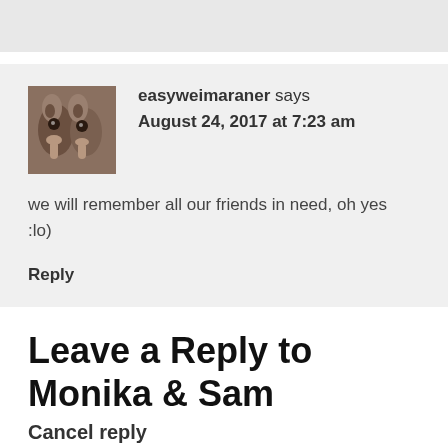[Figure (photo): Avatar photo of two Weimaraner dogs]
easyweimaraner says
August 24, 2017 at 7:23 am
we will remember all our friends in need, oh yes :lo)
Reply
Leave a Reply to Monika & Sam
Cancel reply
Your email address will not be published. Required fields